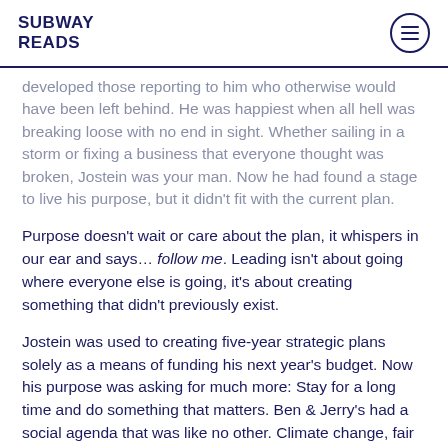SUBWAY READS
developed those reporting to him who otherwise would have been left behind. He was happiest when all hell was breaking loose with no end in sight. Whether sailing in a storm or fixing a business that everyone thought was broken, Jostein was your man. Now he had found a stage to live his purpose, but it didn't fit with the current plan.
Purpose doesn't wait or care about the plan, it whispers in our ear and says… follow me. Leading isn't about going where everyone else is going, it's about creating something that didn't previously exist.
Jostein was used to creating five-year strategic plans solely as a means of funding his next year's budget. Now his purpose was asking for much more: Stay for a long time and do something that matters. Ben & Jerry's had a social agenda that was like no other. Climate change, fair